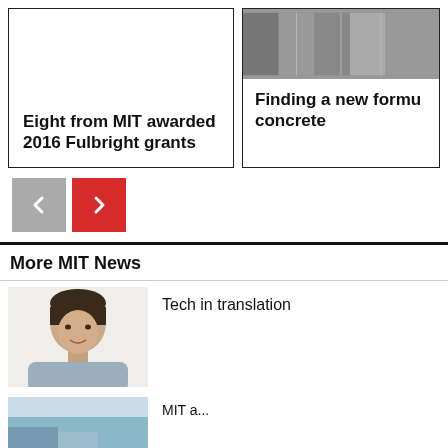Eight from MIT awarded 2016 Fulbright grants
Finding a new formu concrete
[Figure (infographic): Navigation previous (grey) and next (red) arrow buttons]
More MIT News
[Figure (photo): Portrait photo of a man in a grey shirt against a white background]
Tech in translation
[Figure (photo): Partial photo, blue tones, bottom of page - partially visible]